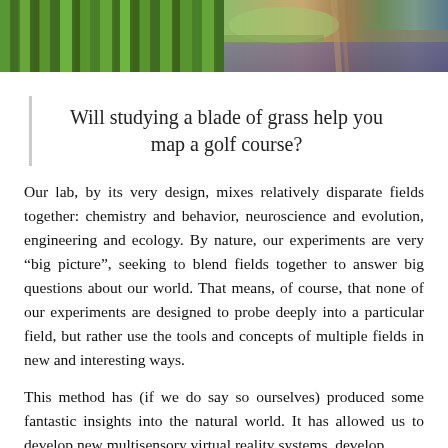[Figure (photo): Two side-by-side photos: left shows close-up green grass blades; right shows a golf course with path and purple-tinted water/landscape.]
Will studying a blade of grass help you map a golf course?
Our lab, by its very design, mixes relatively disparate fields together: chemistry and behavior, neuroscience and evolution, engineering and ecology. By nature, our experiments are very “big picture”, seeking to blend fields together to answer big questions about our world. That means, of course, that none of our experiments are designed to probe deeply into a particular field, but rather use the tools and concepts of multiple fields in new and interesting ways.
This method has (if we do say so ourselves) produced some fantastic insights into the natural world. It has allowed us to develop new multisensory virtual reality systems, develop